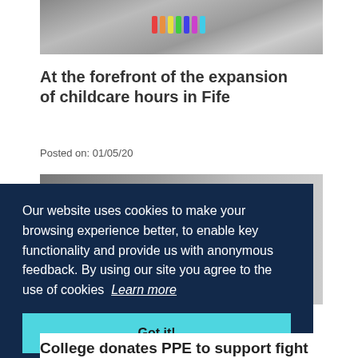[Figure (photo): Children/students doing crafts or drawing with colourful markers at a table]
At the forefront of the expansion of childcare hours in Fife
Posted on: 01/05/20
[Figure (photo): Building exterior, partially obscured by cookie consent overlay]
Our website uses cookies to make your browsing experience better, to enable key functionality and provide us with anonymous feedback. By using our site you agree to the use of cookies  Learn more
Got it!
College donates PPE to support fight